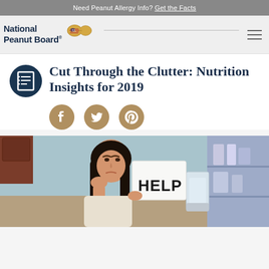Need Peanut Allergy Info? Get the Facts
[Figure (logo): National Peanut Board logo with peanut icon and text]
Cut Through the Clutter: Nutrition Insights for 2019
[Figure (infographic): Social media share icons: Facebook, Twitter, Pinterest]
[Figure (photo): Woman with frustrated expression holding a HELP sign next to a blender in a kitchen]